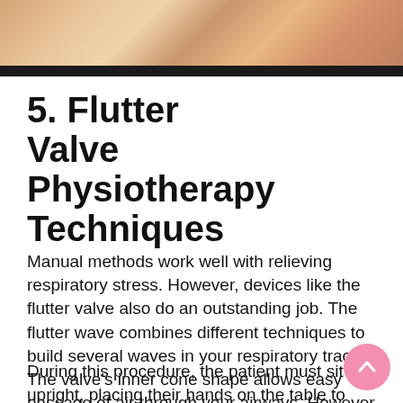[Figure (photo): Photo strip at top of page showing people, partially visible, with a dark bar at the bottom]
5. Flutter Valve Physiotherapy Techniques
Manual methods work well with relieving respiratory stress. However, devices like the flutter valve also do an outstanding job. The flutter wave combines different techniques to build several waves in your respiratory tract. The valve's inner cone shape allows easy passage of air through your airways. However, doctors only recommend this method for children aged five years and over.
During this procedure, the patient must sit upright, placing their hands on the table to prevent slouching. While inhaling, you must